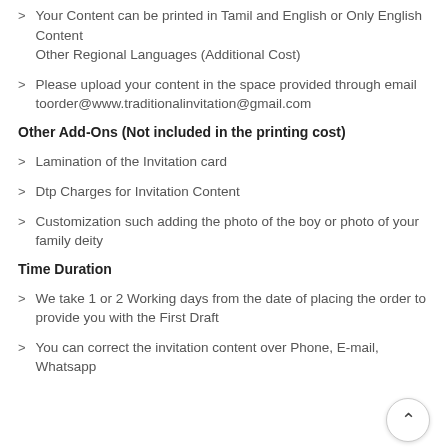Your Content can be printed in Tamil and English or Only English Content
Other Regional Languages (Additional Cost)
Please upload your content in the space provided through email toorder@www.traditionalinvitation@gmail.com
Other Add-Ons (Not included in the printing cost)
Lamination of the Invitation card
Dtp Charges for Invitation Content
Customization such adding the photo of the boy or photo of your family deity
Time Duration
We take 1 or 2 Working days from the date of placing the order to provide you with the First Draft
You can correct the invitation content over Phone, E-mail, Whatsapp